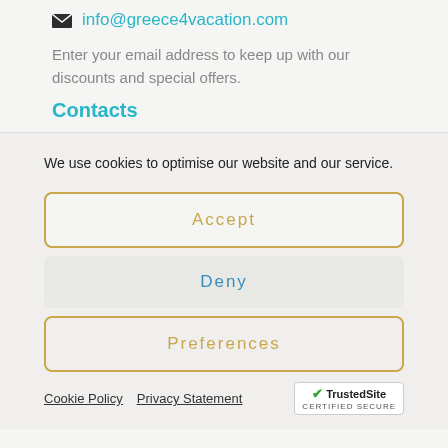info@greece4vacation.com
Enter your email address to keep up with our discounts and special offers.
Contacts
We use cookies to optimise our website and our service.
Accept
Deny
Preferences
Cookie Policy  Privacy Statement  TrustedSite CERTIFIED SECURE